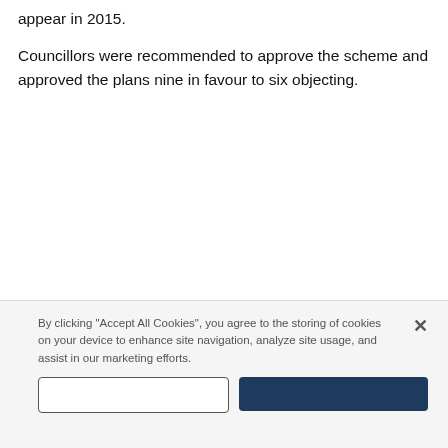appear in 2015.
Councillors were recommended to approve the scheme and approved the plans nine in favour to six objecting.
Don't Miss
By clicking "Accept All Cookies", you agree to the storing of cookies on your device to enhance site navigation, analyze site usage, and assist in our marketing efforts.